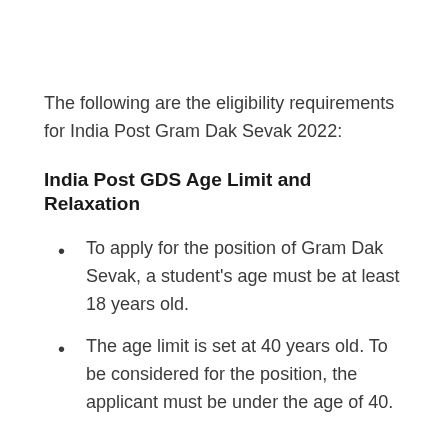The following are the eligibility requirements for India Post Gram Dak Sevak 2022:
India Post GDS Age Limit and Relaxation
To apply for the position of Gram Dak Sevak, a student's age must be at least 18 years old.
The age limit is set at 40 years old. To be considered for the position, the applicant must be under the age of 40.